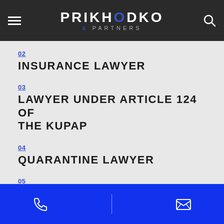PRIKHODKO & PARTNERS
02 INSURANCE LAWYER
03 LAWYER UNDER ARTICLE 124 OF THE KUPAP
04 QUARANTINE LAWYER
05 HOUSE NOISE LAWYER
Phone | Email